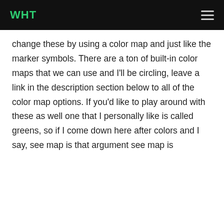WHT
change these by using a color map and just like the marker symbols. There are a ton of built-in color maps that we can use and I'll be circling, leave a link in the description section below to all of the color map options. If you'd like to play around with these as well one that I personally like is called greens, so if I come down here after colors and I say, see map is that argument see map is